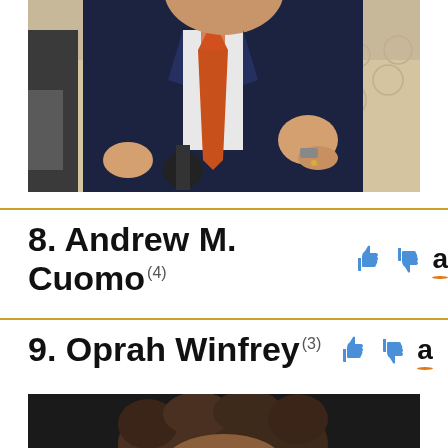[Figure (photo): Man in dark suit with orange tie seated on cream sofa, gesturing with hands, microphone in foreground]
8. Andrew M. Cuomo (4)
9. Oprah Winfrey (3)
[Figure (photo): Partial view of a person with curly dark hair, bottom of page]